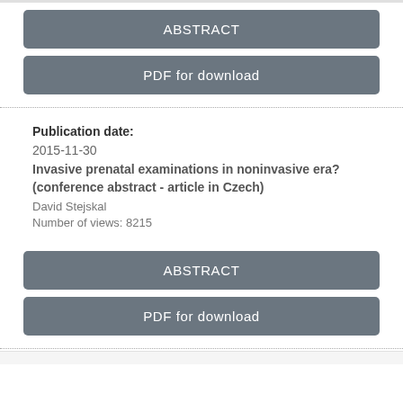ABSTRACT
PDF for download
Publication date:
2015-11-30
Invasive prenatal examinations in noninvasive era? (conference abstract - article in Czech)
David Stejskal
Number of views: 8215
ABSTRACT
PDF for download